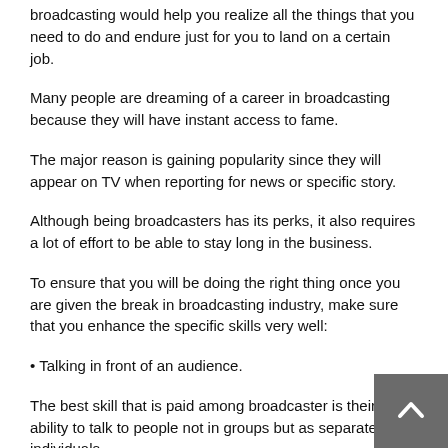broadcasting would help you realize all the things that you need to do and endure just for you to land on a certain job.
Many people are dreaming of a career in broadcasting because they will have instant access to fame.
The major reason is gaining popularity since they will appear on TV when reporting for news or specific story.
Although being broadcasters has its perks, it also requires a lot of effort to be able to stay long in the business.
To ensure that you will be doing the right thing once you are given the break in broadcasting industry, make sure that you enhance the specific skills very well:
• Talking in front of an audience.
The best skill that is paid among broadcaster is their ability to talk to people not in groups but as separate individuals.
If you want this job, you must practice talking to your audience